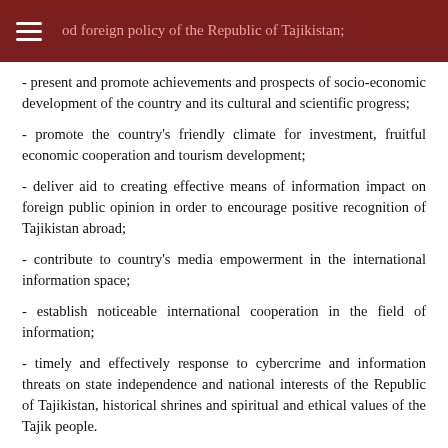od foreign policy of the Republic of Tajikistan;
- present and promote achievements and prospects of socio-economic development of the country and its cultural and scientific progress;
- promote the country's friendly climate for investment, fruitful economic cooperation and tourism development;
- deliver aid to creating effective means of information impact on foreign public opinion in order to encourage positive recognition of Tajikistan abroad;
- contribute to country's media empowerment in the international information space;
- establish noticeable international cooperation in the field of information;
- timely and effectively response to cybercrime and information threats on state independence and national interests of the Republic of Tajikistan, historical shrines and spiritual and ethical values of the Tajik people.
Pursuance of information diplomacy of the Republic of Tajikistan shall be based on a broad application of modern information and communication facilities. The